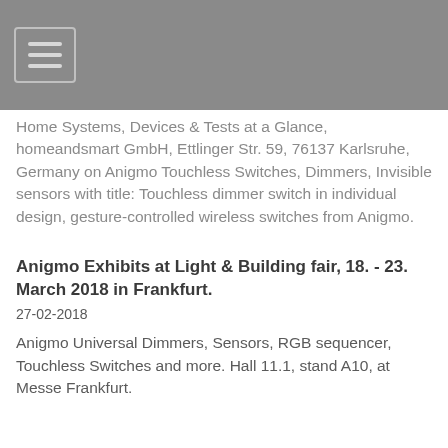Home Systems, Devices & Tests at a Glance, homeandsmart GmbH, Ettlinger Str. 59, 76137 Karlsruhe, Germany on Anigmo Touchless Switches, Dimmers, Invisible sensors with title: Touchless dimmer switch in individual design, gesture-controlled wireless switches from Anigmo.
Anigmo Exhibits at Light & Building fair, 18. - 23. March 2018 in Frankfurt.
27-02-2018
Anigmo Universal Dimmers, Sensors, RGB sequencer, Touchless Switches and more. Hall 11.1, stand A10, at Messe Frankfurt.